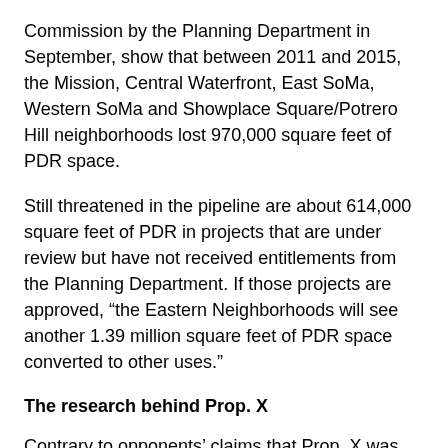Commission by the Planning Department in September, show that between 2011 and 2015, the Mission, Central Waterfront, East SoMa, Western SoMa and Showplace Square/Potrero Hill neighborhoods lost 970,000 square feet of PDR space.
Still threatened in the pipeline are about 614,000 square feet of PDR in projects that are under review but have not received entitlements from the Planning Department. If those projects are approved, “the Eastern Neighborhoods will see another 1.39 million square feet of PDR space converted to other uses.”
The research behind Prop. X
Contrary to opponents’ claims that Prop. X was “hastily conceived, with no analysis or data,” when the Board of Supervisors voted 7-4 in August to place Prop. X on the ballot, Kim’s office had been working on such a measure with the neighborhood arts community for a year and a